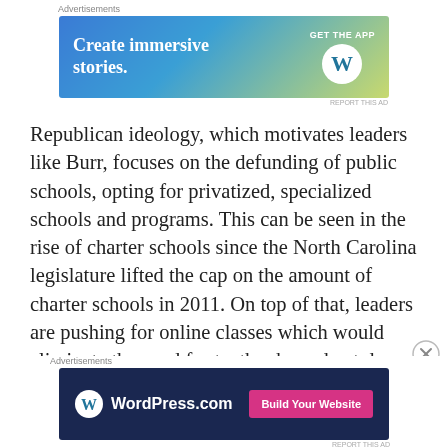[Figure (other): Top advertisement banner: 'Create immersive stories. GET THE APP' with WordPress logo, gradient blue-green background]
Republican ideology, which motivates leaders like Burr, focuses on the defunding of public schools, opting for privatized, specialized schools and programs. This can be seen in the rise of charter schools since the North Carolina legislature lifted the cap on the amount of charter schools in 2011. On top of that, leaders are pushing for online classes which would eliminate the need for textbooks and cut down expenses. That’s not the only thing that right wingers want to eliminate; teacher assistants in elementary school classrooms
[Figure (other): Bottom advertisement banner: WordPress.com 'Build Your Website' button on dark navy background]